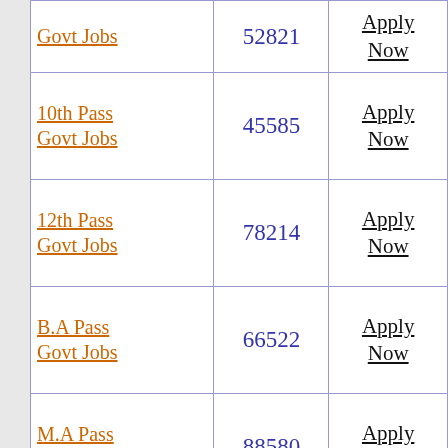| Job Category | Count | Action |
| --- | --- | --- |
| Govt Jobs | 52821 | Apply Now |
| 10th Pass Govt Jobs | 45585 | Apply Now |
| 12th Pass Govt Jobs | 78214 | Apply Now |
| B.A Pass Govt Jobs | 66522 | Apply Now |
| M.A Pass Govt Jobs | 88580 | Apply Now |
| Diploma Pass Govt Jobs | 36655 | Apply Now |
| [partial] |  |  |